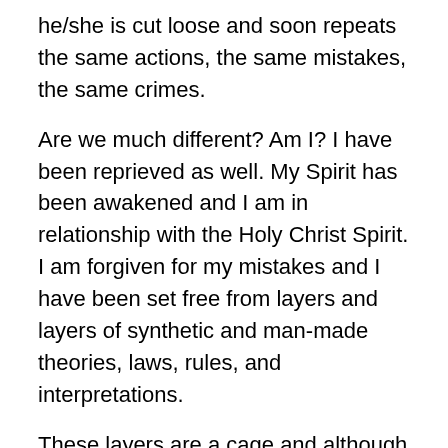he/she is cut loose and soon repeats the same actions, the same mistakes, the same crimes.
Are we much different? Am I? I have been reprieved as well. My Spirit has been awakened and I am in relationship with the Holy Christ Spirit. I am forgiven for my mistakes and I have been set free from layers and layers of synthetic and man-made theories, laws, rules, and interpretations.
These layers are a cage and although the work has been done (for everyone), I still have to step out of that cage to experience the freedom. I have to trust that no one will slam the cage door shut. I have to trust that the cancellation and disarmament are real. I have to believe. I have to operate in a new way. Caged life is different from meadow life.